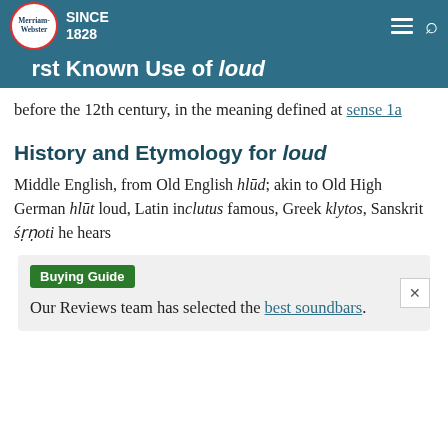Merriam-Webster SINCE 1828
First Known Use of loud
before the 12th century, in the meaning defined at sense 1a
History and Etymology for loud
Middle English, from Old English hlūd; akin to Old High German hlūt loud, Latin inclutus famous, Greek klytos, Sanskrit śṛṇoti he hears
Buying Guide
Our Reviews team has selected the best soundbars.